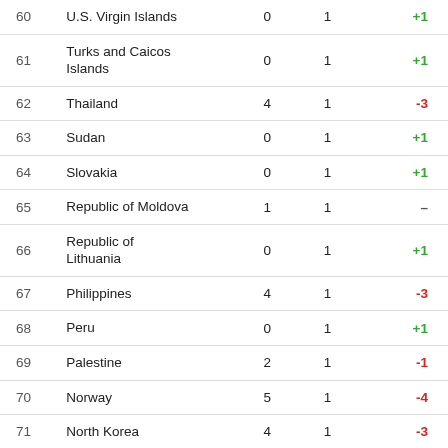| Rank | Country | Previous | Current | Change |
| --- | --- | --- | --- | --- |
| 60 | U.S. Virgin Islands | 0 | 1 | +1 |
| 61 | Turks and Caicos Islands | 0 | 1 | +1 |
| 62 | Thailand | 4 | 1 | -3 |
| 63 | Sudan | 0 | 1 | +1 |
| 64 | Slovakia | 0 | 1 | +1 |
| 65 | Republic of Moldova | 1 | 1 | – |
| 66 | Republic of Lithuania | 0 | 1 | +1 |
| 67 | Philippines | 4 | 1 | -3 |
| 68 | Peru | 0 | 1 | +1 |
| 69 | Palestine | 2 | 1 | -1 |
| 70 | Norway | 5 | 1 | -4 |
| 71 | North Korea | 4 | 1 | -3 |
| 72 | Monaco | 0 | 1 | +1 |